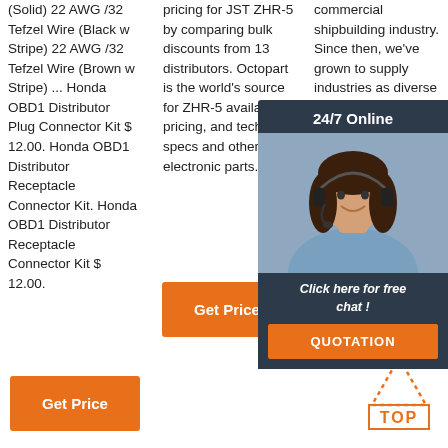(Solid) 22 AWG /32 Tefzel Wire (Black w Stripe) 22 AWG /32 Tefzel Wire (Brown w Stripe) ... Honda OBD1 Distributor Plug Connector Kit $ 12.00. Honda OBD1 Distributor Receptacle Connector Kit. Honda OBD1 Distributor Receptacle Connector Kit $ 12.00.
pricing for JST ZHR-5 by comparing bulk discounts from 13 distributors. Octopart is the world's source for ZHR-5 availability, pricing, and technical specs and other electronic parts.
commercial shipbuilding industry. Since then, we've grown to supply industries as diverse as petrochemical and food processing, medical, entertainment, transportation, utility and
[Figure (photo): Customer service representative with headset, overlaid on dark blue background with '24/7 Online' header, 'Click here for free chat!' text, and orange QUOTATION button]
Get Price
Get Price
Get
[Figure (logo): Orange dotted triangle above orange bordered TOP text — back to top button]